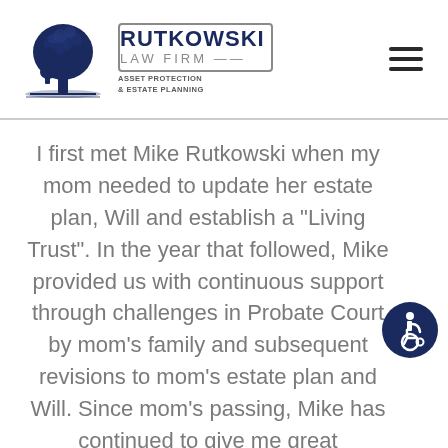[Figure (logo): Rutkowski Law Firm logo with oak tree illustration and firm name text: RUTKOWSKI LAW FIRM ASSET PROTECTION & ESTATE PLANNING]
I first met Mike Rutkowski when my mom needed to update her estate plan, Will and establish a “Living Trust”. In the year that followed, Mike provided us with continuous support through challenges in Probate Court by mom’s family and subsequent revisions to mom’s estate plan and Will. Since mom’s passing, Mike has continued to give me great